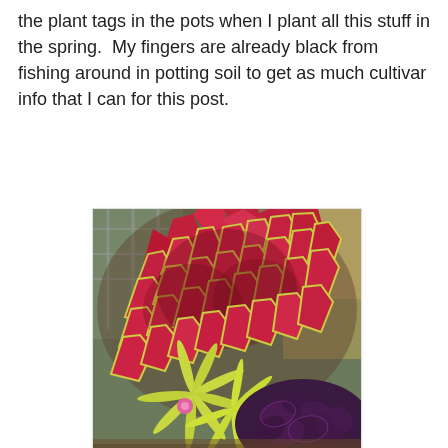the plant tags in the pots when I plant all this stuff in the spring.  My fingers are already black from fishing around in potting soil to get as much cultivar info that I can for this post.
[Figure (photo): A lush garden photo showing a large coleus plant with vibrant red and pink foliage with green-yellow edges, surrounded by other plants including yellow-green star-shaped leaves with a small pink flower, and dark purple foliage at the bottom right. A metal trellis is visible in the upper left background.]